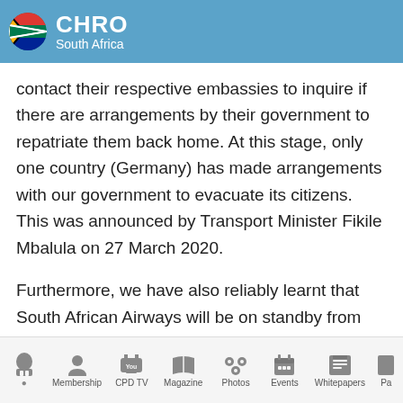CHRO South Africa
contact their respective embassies to inquire if there are arrangements by their government to repatriate them back home. At this stage, only one country (Germany) has made arrangements with our government to evacuate its citizens. This was announced by Transport Minister Fikile Mbalula on 27 March 2020.
Furthermore, we have also reliably learnt that South African Airways will be on standby from this week (from 30 March 2020) to temporarily evacuate
Home | Membership | CPD TV | Magazine | Photos | Events | Whitepapers | Pa...